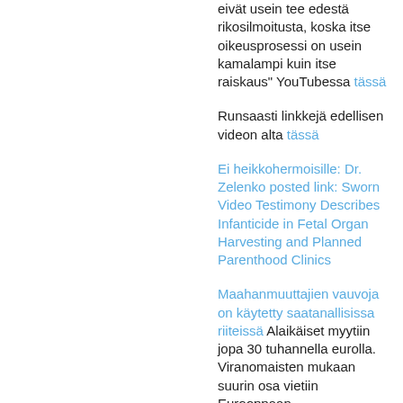eivät usein tee edestä rikosilmoitusta, koska itse oikeusprosessi on usein kamalampi kuin itse raiskaus" YouTubessa tässä
Runsaasti linkkejä edellisen videon alta tässä
Ei heikkohermoisille: Dr. Zelenko posted link: Sworn Video Testimony Describes Infanticide in Fetal Organ Harvesting and Planned Parenthood Clinics
Maahanmuuttajien vauvoja on käytetty saatanallisissa riiteissä Alaikäiset myytiin jopa 30 tuhannella eurolla. Viranomaisten mukaan suurin osa vietiin Eurooppaan.